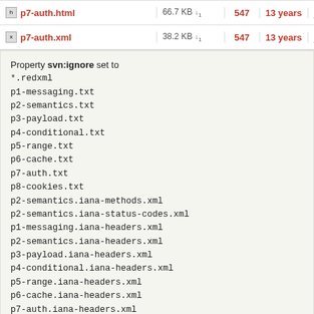| Name | Size | Rev | Age | Author |
| --- | --- | --- | --- | --- |
| p7-auth.html | 66.7 KB | 547 | 13 years | julian.reschi |
| p7-auth.xml | 38.2 KB | 547 | 13 years | julian.reschi |
Property svn:ignore set to
*.redxml
p1-messaging.txt
p2-semantics.txt
p3-payload.txt
p4-conditional.txt
p5-range.txt
p6-cache.txt
p7-auth.txt
p8-cookies.txt
p2-semantics.iana-methods.xml
p2-semantics.iana-status-codes.xml
p1-messaging.iana-headers.xml
p2-semantics.iana-headers.xml
p3-payload.iana-headers.xml
p4-conditional.iana-headers.xml
p5-range.iana-headers.xml
p6-cache.iana-headers.xml
p7-auth.iana-headers.xml
*.abnf
p1-messaging.iana-headers
p1-messaging.parsed-abnf
p2-semantics.iana-headers
p2-semantics.iana-methods
p2-semantics.iana-status-codes
p2-semantics.parsed-abnf
p3-payload.iana-headers
p3-payload.parsed-abnf
p4-conditional.iana-headers
p4-conditional.parsed-abnf
p5-range.iana-headers
p5-range.parsed-abnf
p6-cache.iana-headers
p6-cache.parsed-abnf